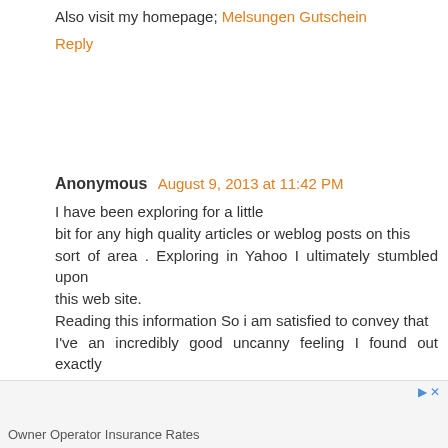Also visit my homepage; Melsungen Gutschein
Reply
Anonymous August 9, 2013 at 11:42 PM
I have been exploring for a little bit for any high quality articles or weblog posts on this sort of area . Exploring in Yahoo I ultimately stumbled upon this web site.
Reading this information So i am satisfied to convey that I've an incredibly good uncanny feeling I found out exactly what I needed. I so much indubitably will make certain to don?t overlook this site and provides it a glance regularly.
Stop by my blog: nassetina nude **
Reply
Owner Operator Insurance Rates